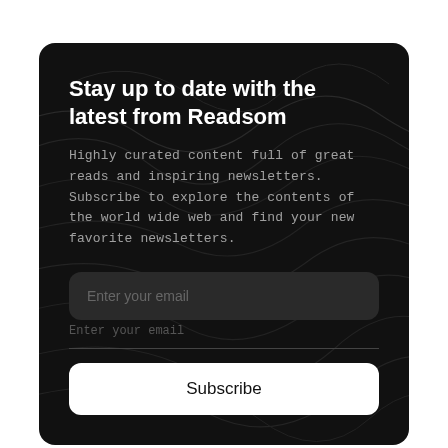Stay up to date with the latest from Readsom
Highly curated content full of great reads and inspiring newsletters. Subscribe to explore the contents of the world wide web and find your new favorite newsletters.
Enter your email
Enter your email
Subscribe